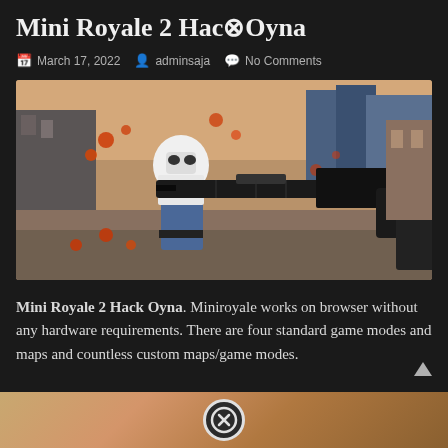Mini Royale 2 Hack⊗Oyna
March 17, 2022   adminsaja   No Comments
[Figure (screenshot): Screenshot of Mini Royale 2 game showing a cartoon-style character holding a sniper rifle in first-person view, with a blocky stylized environment and orange/red splatter effects]
Mini Royale 2 Hack Oyna. Miniroyale works on browser without any hardware requirements. There are four standard game modes and maps and countless custom maps/game modes.